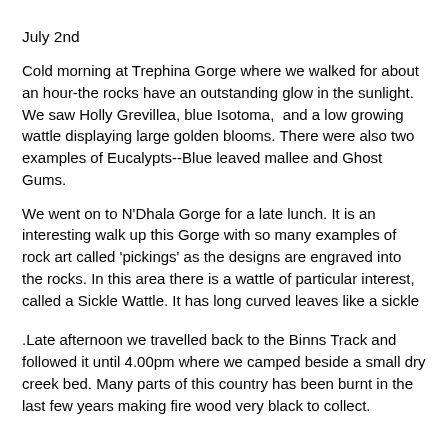July 2nd
Cold morning at Trephina Gorge where we walked for about an hour-the rocks have an outstanding glow in the sunlight. We saw Holly Grevillea, blue Isotoma,  and a low growing wattle displaying large golden blooms. There were also two examples of Eucalypts--Blue leaved mallee and Ghost Gums.
We went on to N'Dhala Gorge for a late lunch. It is an interesting walk up this Gorge with so many examples of rock art called 'pickings' as the designs are engraved into the rocks. In this area there is a wattle of particular interest, called a Sickle Wattle. It has long curved leaves like a sickle
.Late afternoon we travelled back to the Binns Track and followed it until 4.00pm where we camped beside a small dry creek bed. Many parts of this country has been burnt in the last few years making fire wood very black to collect.